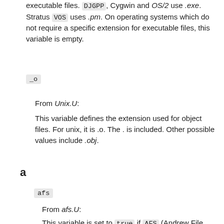executable files. DJGPP, Cygwin and OS/2 use .exe. Stratus VOS uses .pm. On operating systems which do not require a specific extension for executable files, this variable is empty.
_o
From Unix.U:
This variable defines the extension used for object files. For unix, it is .o. The . is included. Other possible values include .obj.
a
afs
From afs.U:
This variable is set to true if AFS (Andrew File System) is used on the system, false otherwise. It is possible to override this with a hint value or command line option, but you'd better know what